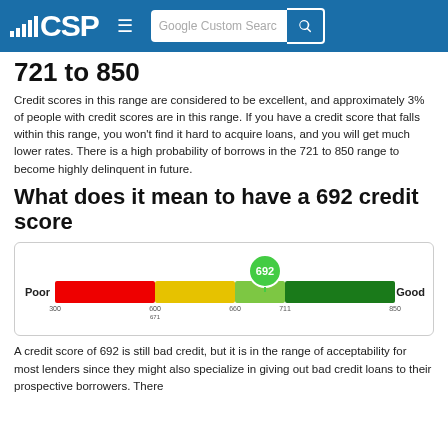CSP | Google Custom Search
721 to 850
Credit scores in this range are considered to be excellent, and approximately 3% of people with credit scores are in this range. If you have a credit score that falls within this range, you won't find it hard to acquire loans, and you will get much lower rates. There is a high probability of borrows in the 721 to 850 range to become highly delinquent in future.
What does it mean to have a 692 credit score
[Figure (infographic): A horizontal credit score gauge bar ranging from Poor (left) to Good (right). The bar has segments colored red (300-600), yellow/orange (600-671), light green (660-711), and dark green (711-850). A green circle marker labeled '692' is positioned above the bar between the light green and dark green segments.]
A credit score of 692 is still bad credit, but it is in the range of acceptability for most lenders since they might also specialize in giving out bad credit loans to their prospective borrowers. There